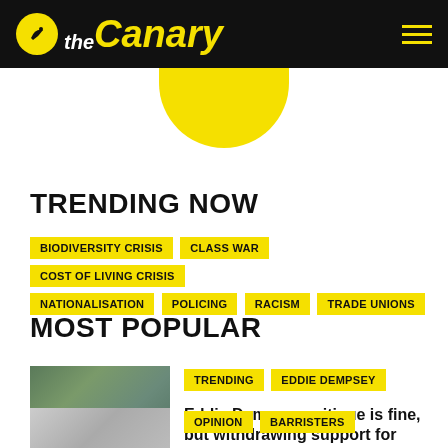the Canary
TRENDING NOW
BIODIVERSITY CRISIS
CLASS WAR
COST OF LIVING CRISIS
NATIONALISATION
POLICING
RACISM
TRADE UNIONS
MOST POPULAR
[Figure (photo): Man in suit speaking at an event, Eddie Dempsey]
TRENDING  EDDIE DEMPSEY
Eddie Dempsey critique is fine, but withdrawing support for workers over him is telling on yourself
[Figure (photo): Black and white illustration or cartoon]
OPINION  BARRISTERS